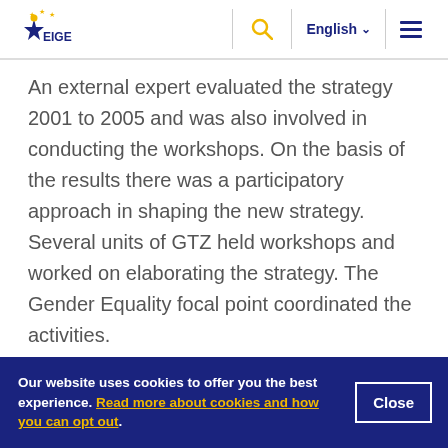EIGE header navigation with logo, search, English language selector, and menu
An external expert evaluated the strategy 2001 to 2005 and was also involved in conducting the workshops. On the basis of the results there was a participatory approach in shaping the new strategy. Several units of GTZ held workshops and worked on elaborating the strategy. The Gender Equality focal point coordinated the activities.
Our website uses cookies to offer you the best experience. Read more about cookies and how you can opt out.